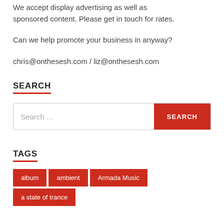We accept display advertising as well as sponsored content. Please get in touch for rates.
Can we help promote your business in anyway?
chris@onthesesh.com / liz@onthesesh.com
SEARCH
[Figure (other): Search input bar with placeholder text 'Search ...' and a red SEARCH button]
TAGS
album
ambient
Armada Music
a state of trance